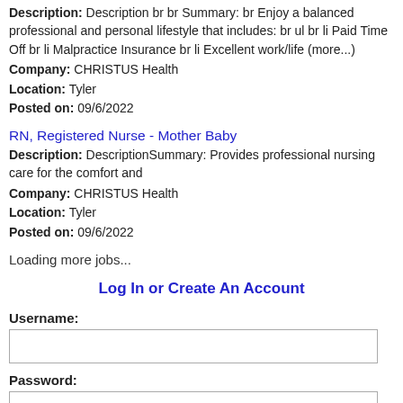Description: Description br br Summary: br Enjoy a balanced professional and personal lifestyle that includes: br ul br li Paid Time Off br li Malpractice Insurance br li Excellent work/life (more...)
Company: CHRISTUS Health
Location: Tyler
Posted on: 09/6/2022
RN, Registered Nurse - Mother Baby
Description: DescriptionSummary: Provides professional nursing care for the comfort and
Company: CHRISTUS Health
Location: Tyler
Posted on: 09/6/2022
Loading more jobs...
Log In or Create An Account
Username:
Password: